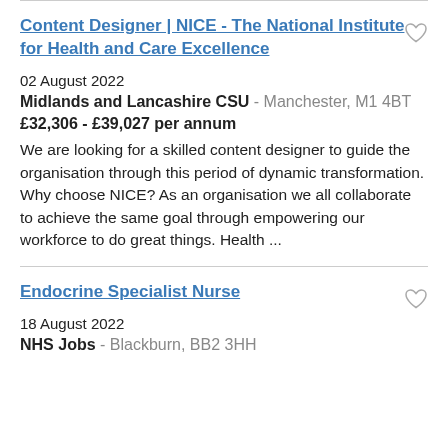Content Designer | NICE - The National Institute for Health and Care Excellence
02 August 2022
Midlands and Lancashire CSU - Manchester, M1 4BT
£32,306 - £39,027 per annum
We are looking for a skilled content designer to guide the organisation through this period of dynamic transformation. Why choose NICE? As an organisation we all collaborate to achieve the same goal through empowering our workforce to do great things. Health ...
Endocrine Specialist Nurse
18 August 2022
NHS Jobs - Blackburn, BB2 3HH